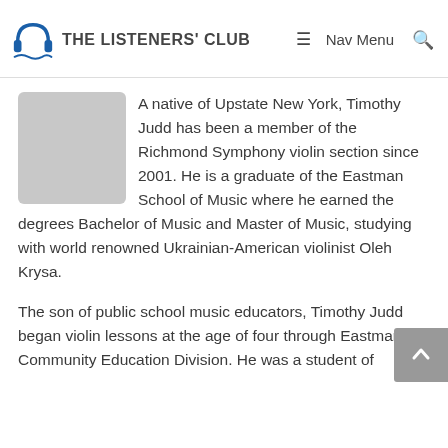THE LISTENERS' CLUB  ≡ Nav Menu  🔍
[Figure (photo): Circular profile photo placeholder (gray circle) of Timothy Judd]
A native of Upstate New York, Timothy Judd has been a member of the Richmond Symphony violin section since 2001. He is a graduate of the Eastman School of Music where he earned the degrees Bachelor of Music and Master of Music, studying with world renowned Ukrainian-American violinist Oleh Krysa.
The son of public school music educators, Timothy Judd began violin lessons at the age of four through Eastman's Community Education Division. He was a student of